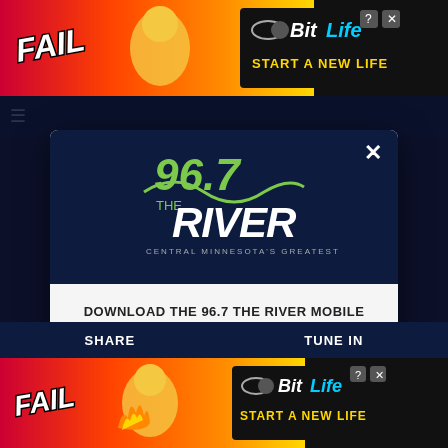[Figure (screenshot): Top advertisement banner for BitLife game: FAIL character with 'START A NEW LIFE' text on colorful background]
[Figure (logo): 96.7 The River radio station logo - Central Minnesota's Greatest Hits, displayed in modal popup header with dark navy background]
DOWNLOAD THE 96.7 THE RIVER MOBILE APP
GET OUR FREE MOBILE APP
Also listen on:  amazon alexa
[Figure (screenshot): Bottom advertisement banner for BitLife game: same FAIL character with 'START A NEW LIFE' text on colorful background]